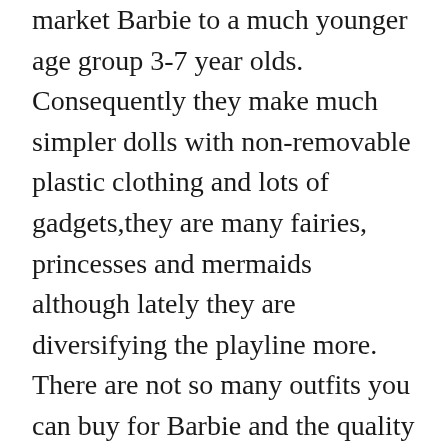market Barbie to a much younger age group 3-7 year olds. Consequently they make much simpler dolls with non-removable plastic clothing and lots of gadgets,they are many fairies, princesses and mermaids although lately they are diversifying the playline more. There are not so many outfits you can buy for Barbie and the quality is poor.
Mattel also recognises that there are adult collectors and for that market they sell expensive, better quality dolls in elaborate costumes which are only meant to be put on display and never removed from their boxes.